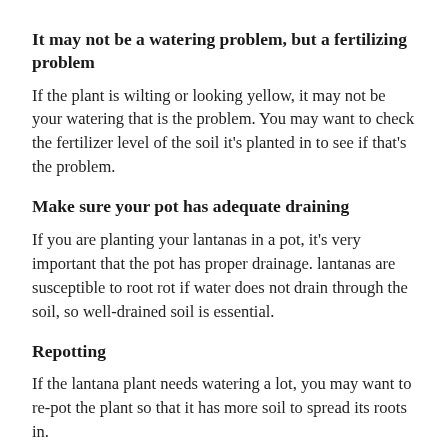It may not be a watering problem, but a fertilizing problem
If the plant is wilting or looking yellow, it may not be your watering that is the problem. You may want to check the fertilizer level of the soil it's planted in to see if that's the problem.
Make sure your pot has adequate draining
If you are planting your lantanas in a pot, it's very important that the pot has proper drainage. lantanas are susceptible to root rot if water does not drain through the soil, so well-drained soil is essential.
Repotting
If the lantana plant needs watering a lot, you may want to re-pot the plant so that it has more soil to spread its roots in.